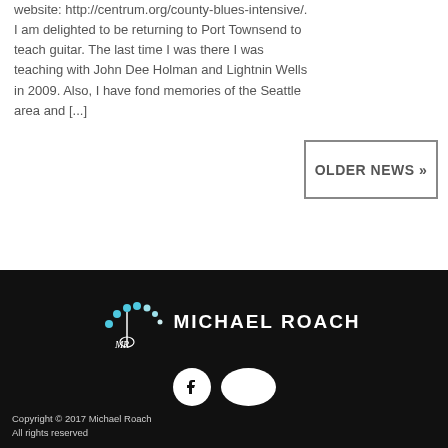website: http://centrum.org/county-blues-intensive/. I am delighted to be returning to Port Townsend to teach guitar. The last time I was there I was teaching with John Dee Holman and Lightnin Wells in 2009. Also, I have fond memories of the Seattle area and [...]
OLDER NEWS »
[Figure (logo): Michael Roach logo with stylized MR guitar figure and dots forming an arc above]
[Figure (logo): Facebook icon circle and oval white shape social media icons]
Copyright © 2017 Michael Roach
All rights reserved